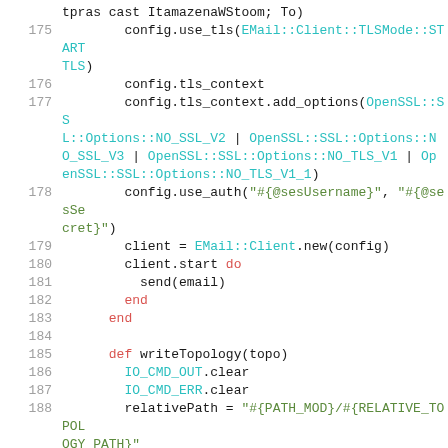Code listing lines 175-189, Ruby source code showing email client configuration and writeTopology method